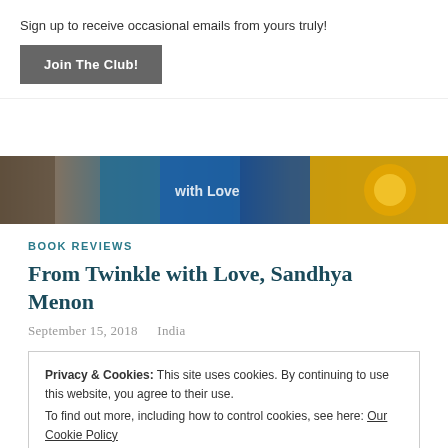Sign up to receive occasional emails from yours truly!
Join The Club!
[Figure (photo): Colorful banner image with books and floral elements, featuring text 'with Love']
BOOK REVIEWS
From Twinkle with Love, Sandhya Menon
September 15, 2018   India
Privacy & Cookies: This site uses cookies. By continuing to use this website, you agree to their use.
To find out more, including how to control cookies, see here: Our Cookie Policy
Close and accept
to famous female filmmakers in hopes of channeling